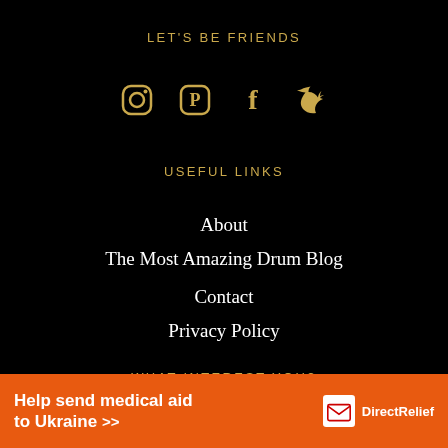LET'S BE FRIENDS
[Figure (illustration): Social media icons: Instagram, Pinterest, Facebook, Twitter in gold color]
USEFUL LINKS
About
The Most Amazing Drum Blog
Contact
Privacy Policy
WHAT INTEREST YOU?
[Figure (infographic): Orange advertisement banner: Help send medical aid to Ukraine >> with Direct Relief logo]